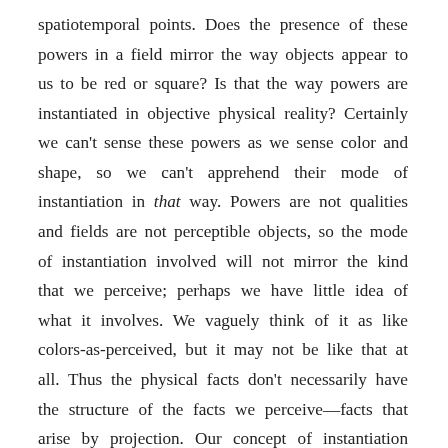spatiotemporal points. Does the presence of these powers in a field mirror the way objects appear to us to be red or square? Is that the way powers are instantiated in objective physical reality? Certainly we can't sense these powers as we sense color and shape, so we can't apprehend their mode of instantiation in that way. Powers are not qualities and fields are not perceptible objects, so the mode of instantiation involved will not mirror the kind that we perceive; perhaps we have little idea of what it involves. We vaguely think of it as like colors-as-perceived, but it may not be like that at all. Thus the physical facts don't necessarily have the structure of the facts we perceive—facts that arise by projection. Our concept of instantiation may be as parochial and subjective as the qualities we project onto the world.